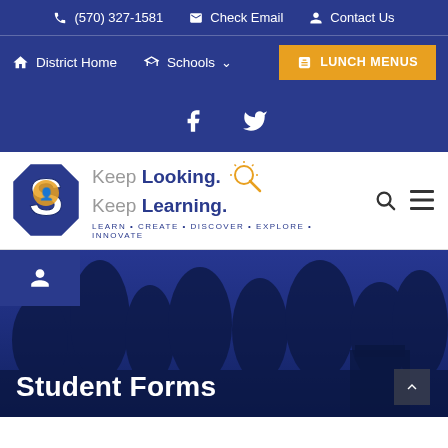(570) 327-1581  Check Email  Contact Us
District Home  Schools  LUNCH MENUS
[Figure (screenshot): Facebook and Twitter social media icons on blue background]
[Figure (logo): South Williamsport School District logo with S mascot and tagline Keep Looking. Keep Learning. LEARN • CREATE • DISCOVER • EXPLORE • INNOVATE]
Student Forms